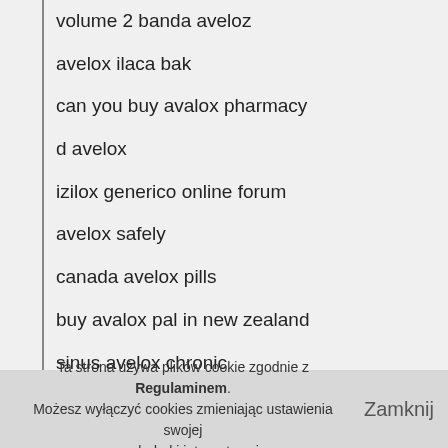volume 2 banda aveloz
avelox ilaca bak
can you buy avalox pharmacy
d avelox
izilox generico online forum
avelox safely
canada avelox pills
buy avalox pal in new zealand
sinus avelox chronic
buy brand avelox 100mg
avelox nets
Ta strona używa plików cookie zgodnie z Regulaminem. Możesz wyłączyć cookies zmieniając ustawienia swojej przeglądarki internetowej. Zamknij